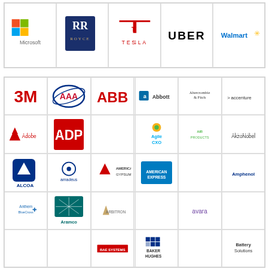[Figure (logo): Grid of company logos: top row: Microsoft, Rolls-Royce, Tesla, Uber, Walmart. Bottom grid: 3M, AAA, ABB, Abbott, Abercrombie & Fitch, accenture, Adobe, ADP, (empty), Agile CXO, Air Products, AkzoNobel, Alcoa, Amadeus, American Gypsum, American Express, (empty), Amphenol, Anthem Blue Cross, Aramco, Arbitron, (empty), avara, (empty), (empty), (empty), BAE Systems, Baker Hughes, (empty), Battery Solutions]